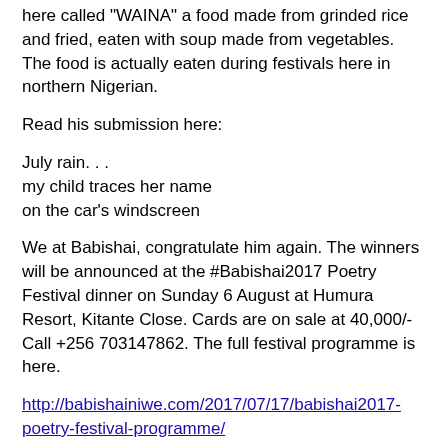here called "WAINA" a food made from grinded rice and fried, eaten with soup made from vegetables. The food is actually eaten during festivals here in northern Nigerian.
Read his submission here:
July rain. . .
my child traces her name
on the car’s windscreen
We at Babishai, congratulate him again. The winners will be announced at the #Babishai2017 Poetry Festival dinner on Sunday 6 August at Humura Resort, Kitante Close. Cards are on sale at 40,000/- Call +256 703147862. The full festival programme is here.
http://babishainiwe.com/2017/07/17/babishai2017-poetry-festival-programme/
The full winning haikus are here:
http://bnpoetryaward.blogspot.ug/2017/07/the-babishai-2017-haiku-shortlist.html